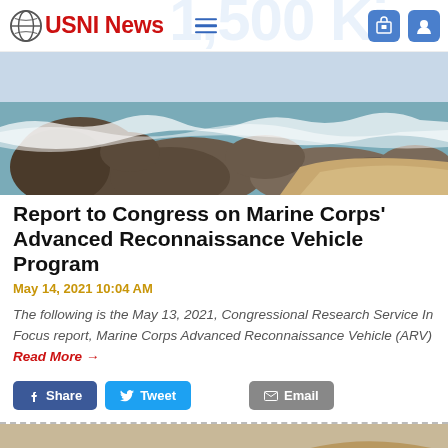USNI News
[Figure (photo): Rocky coastline with waves crashing against boulders, aerial coastal view]
Report to Congress on Marine Corps' Advanced Reconnaissance Vehicle Program
May 14, 2021 10:04 AM
The following is the May 13, 2021, Congressional Research Service In Focus report, Marine Corps Advanced Reconnaissance Vehicle (ARV) Read More →
[Figure (photo): Desert terrain landscape viewed from vehicle, brown arid hills]